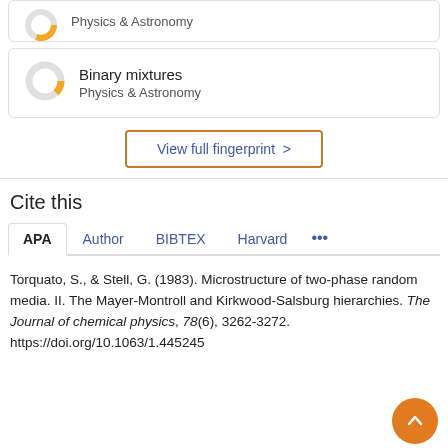[Figure (donut-chart): Donut chart showing partial fill in orange for Binary mixtures category]
Binary mixtures
Physics & Astronomy
View full fingerprint >
Cite this
APA | Author | BIBTEX | Harvard | ...
Torquato, S., & Stell, G. (1983). Microstructure of two-phase random media. II. The Mayer-Montroll and Kirkwood-Salsburg hierarchies. The Journal of chemical physics, 78(6), 3262-3272. https://doi.org/10.1063/1.445245